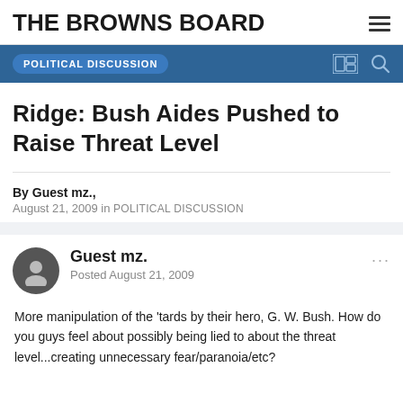THE BROWNS BOARD
POLITICAL DISCUSSION
Ridge: Bush Aides Pushed to Raise Threat Level
By Guest mz.,
August 21, 2009 in POLITICAL DISCUSSION
Guest mz.
Posted August 21, 2009
More manipulation of the 'tards by their hero, G. W. Bush. How do you guys feel about possibly being lied to about the threat level...creating unnecessary fear/paranoia/etc?